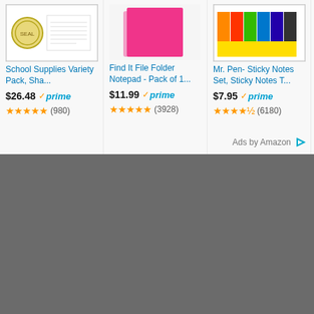[Figure (screenshot): Amazon product ad panel showing three products: School Supplies Variety Pack ($26.48, 980 reviews), Find It File Folder Notepad - Pack of 1... ($11.99, 3928 reviews), Mr. Pen- Sticky Notes Set, Sticky Notes T... ($7.95, 6180 reviews), with Prime badges and star ratings. Bottom half is a dark gray area.]